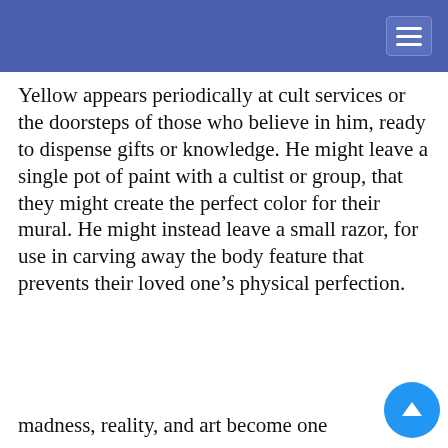[Navigation bar with hamburger menu]
Yellow appears periodically at cult services or the doorsteps of those who believe in him, ready to dispense gifts or knowledge. He might leave a single pot of paint with a cultist or group, that they might create the perfect color for their mural. He might instead leave a small razor, for use in carving away the body feature that prevents their loved one’s physical perfection.
Yellow often ndetectable to t might derive eard on the ies overhead, s shadow in the ultist It’s hard to say ellow, madness, reality, and art become one
This website uses cookies to provide functionality, but which are not used to track your activity. By continuing to use this site, you agree to the use of these cookies.

However, in addition to this, you may opt into your activity being tracked in order to help us improve our service.

For more information, please click here